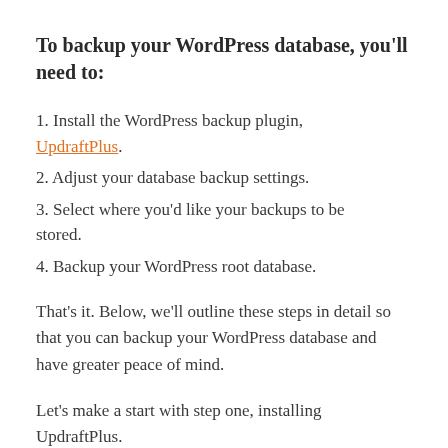To backup your WordPress database, you'll need to:
1. Install the WordPress backup plugin, UpdraftPlus.
2. Adjust your database backup settings.
3. Select where you'd like your backups to be stored.
4. Backup your WordPress root database.
That's it. Below, we'll outline these steps in detail so that you can backup your WordPress database and have greater peace of mind.
Let's make a start with step one, installing UpdraftPlus.